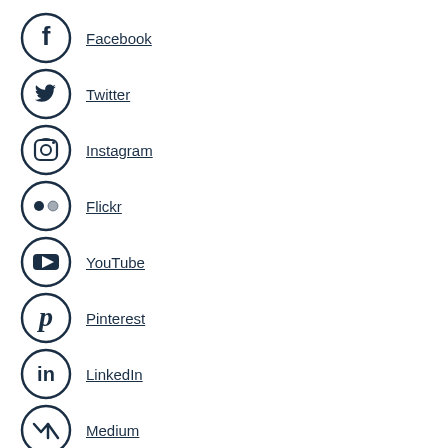Facebook
Twitter
Instagram
Flickr
YouTube
Pinterest
LinkedIn
Medium